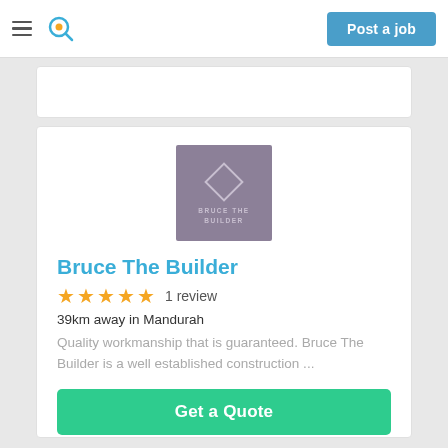Post a job
[Figure (logo): Bruce The Builder company logo — purple/mauve square background with a diamond outline shape and text 'BRUCE THE BUILDER' in light purple]
Bruce The Builder
★★★★★  1 review
39km away in Mandurah
Quality workmanship that is guaranteed. Bruce The Builder is a well established construction ...
Get a Quote